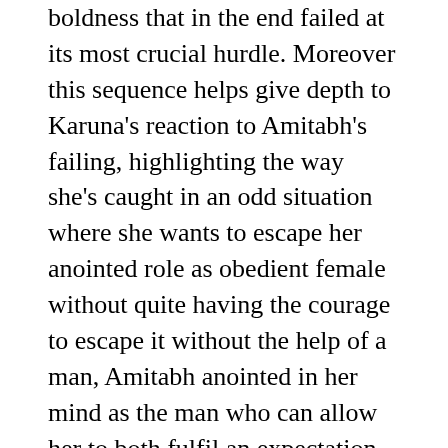boldness that in the end failed at its most crucial hurdle. Moreover this sequence helps give depth to Karuna's reaction to Amitabh's failing, highlighting the way she's caught in an odd situation where she wants to escape her anointed role as obedient female without quite having the courage to escape it without the help of a man, Amitabh anointed in her mind as the man who can allow her to both fulfil an expectation to a degree whilst also defying it. Recollection of such moments when things were still possible are the queasy burden Amitabh keeps a lid on whilst play-acting friendliness with Gupta. When Gupta pulls over on a stretch of road passing through a stretch of